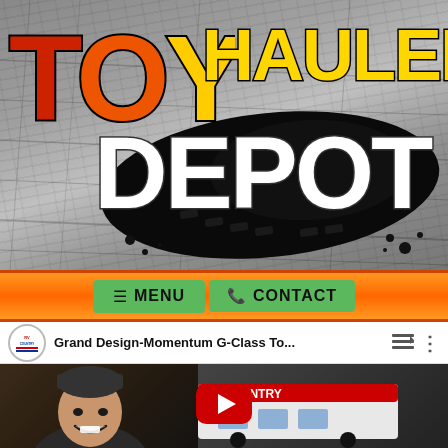[Figure (logo): Toy Hauler Depot logo on gray textured background with tire tracks. 'TOY' in large orange-red gradient letters, 'HAULER' in yellow, 'DEPOT' in white on black brush stroke.]
[Figure (screenshot): Navigation bar with orange background containing green button with menu icon and MENU text, and green button with phone icon and CONTACT text.]
[Figure (screenshot): YouTube video embed showing 'Grand Design-Momentum G-Class To...' with RV Country channel icon, video thumbnail showing a person smiling on left and RV Country branded vehicle on right, with YouTube play button overlay.]